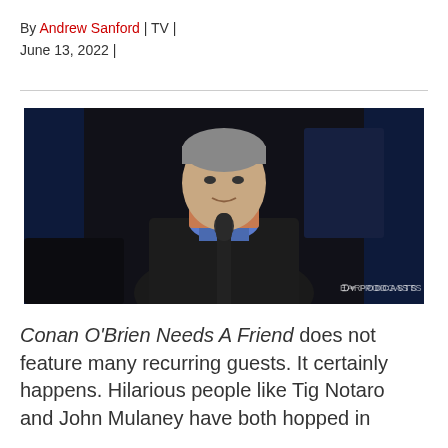By Andrew Sanford | TV | June 13, 2022 |
[Figure (photo): A man sitting in front of a microphone in a dimly lit studio setting, with a dark blue background. Watermark reads 'EAR PODCASTS' in the lower right corner.]
Conan O'Brien Needs A Friend does not feature many recurring guests. It certainly happens. Hilarious people like Tig Notaro and John Mulaney have both hopped in